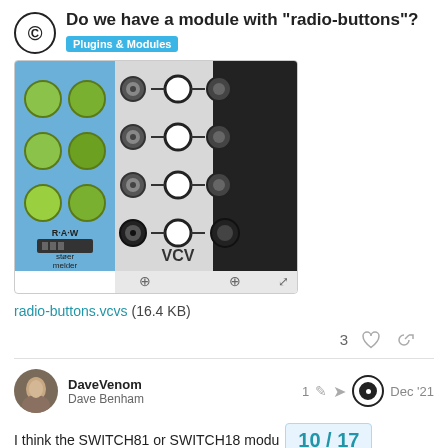Do we have a module with “radio-buttons”?
Plugins & Modules
[Figure (screenshot): Screenshot of VCV Rack modular synthesizer interface showing two modules: a blue 'stoer melder' R-A-W module on the left with green knobs, and a grey VCV module on the right with patch cables and buttons connected in a row pattern.]
radio-buttons.vcvs (16.4 KB)
3
DaveVenom
Dave Benham
Dec '21
I think the SWITCH81 or SWITCH18 modu exclusive mode enabled)
10 / 17